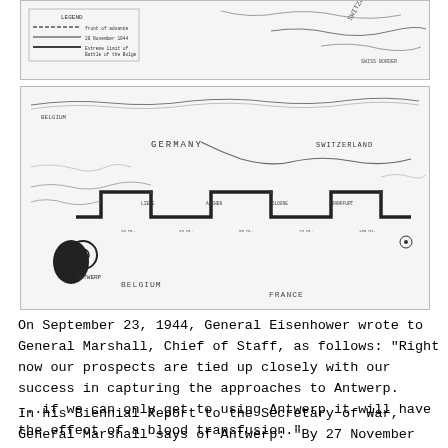[Figure (map): Partial military map showing legend with lines indicating front positions, including references to November dates and Battle of the Bulge. Shows boundary near Switzerland.]
[Figure (map): Military map showing Allied front lines and operational area covering Belgium, Germany, France and Switzerland. Shows Antwerp at lower left, Belgium, France labels at bottom, Germany and Switzerland labels. Features bold lines indicating front positions and logistical routes with various place names and unit positions marked.]
On September 23, 1944, General Eisenhower wrote to General Marshall, Chief of Staff, as follows: "Right now our prospects are tied up closely with our success in capturing the approaches to Antwerp. ...if we can only get to using Antwerp it will have the effect of a blood transfusion."
In his Biennial Report to the Secretary of War, General Marshall says of Antwerp: "By 27 November the Port of Antwerp was in operation